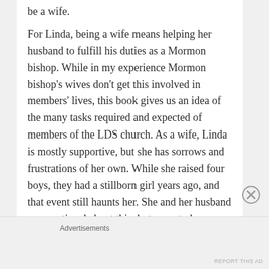be a wife.
For Linda, being a wife means helping her husband to fulfill his duties as a Mormon bishop. While in my experience Mormon bishop's wives don't get this involved in members' lives, this book gives us an idea of the many tasks required and expected of members of the LDS church. As a wife, Linda is mostly supportive, but she has sorrows and frustrations of her own. While she raised four boys, they had a stillborn girl years ago, and that event still haunts her. She and her husband are emotional about this, but seem to have never dealt with that emotion. She is also outspoken and somewhat unorthodox, but she hides this at times because of her status as the
Advertisements